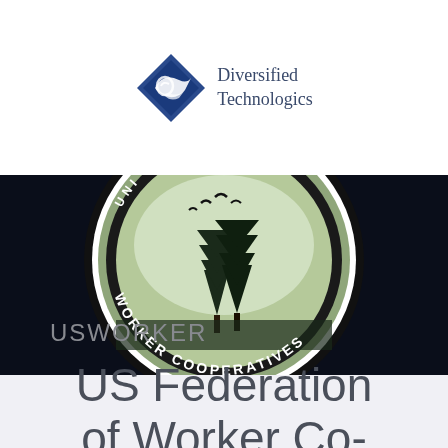[Figure (logo): Diversified Technologics logo: blue diamond shape with stylized wave/scroll design, next to text 'Diversified Technologics' in dark blue serif font]
[Figure (logo): US Federation of Worker Cooperatives circular badge/seal on dark navy background. Circular seal shows pine trees and birds in center with text 'WORKER COOPERATIVES' around the bottom arc and 'UNI... OF' around the top arc, in black and sage green colors. Text 'USWORKER' appears in grey below the seal.]
US Federation of Worker Co-